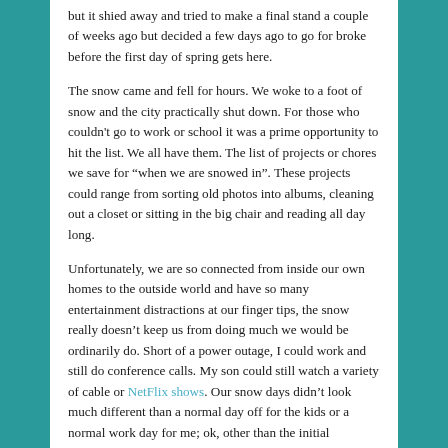but it shied away and tried to make a final stand a couple of weeks ago but decided a few days ago to go for broke before the first day of spring gets here.
The snow came and fell for hours. We woke to a foot of snow and the city practically shut down. For those who couldn't go to work or school it was a prime opportunity to hit the list. We all have them. The list of projects or chores we save for "when we are snowed in". These projects could range from sorting old photos into albums, cleaning out a closet or sitting in the big chair and reading all day long.
Unfortunately, we are so connected from inside our own homes to the outside world and have so many entertainment distractions at our finger tips, the snow really doesn't keep us from doing much we would be ordinarily do. Short of a power outage, I could work and still do conference calls. My son could still watch a variety of cable or NetFlix shows. Our snow days didn't look much different than a normal day off for the kids or a normal work day for me; ok, other than the initial excitement of a day of sledding and take-out pizza.